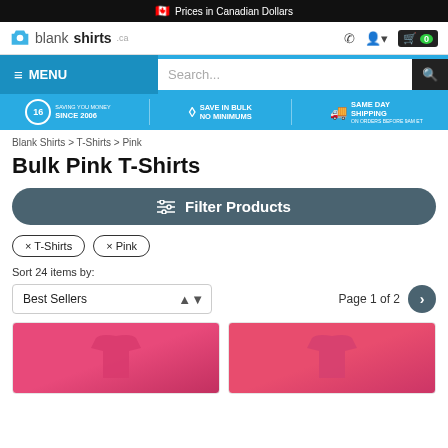🇨🇦 Prices in Canadian Dollars
[Figure (screenshot): blankshirts.ca logo with t-shirt icon, phone, account, and cart icons showing 0 items]
MENU | Search...
16 years SAVING YOU MONEY SINCE 2006 | SAVE IN BULK NO MINIMUMS | SAME DAY SHIPPING ON ORDERS BEFORE 9AM ET
Blank Shirts > T-Shirts > Pink
Bulk Pink T-Shirts
Filter Products
× T-Shirts
× Pink
Sort 24 items by:
Best Sellers  Page 1 of 2
[Figure (photo): Two pink t-shirts partially visible at the bottom of the page]